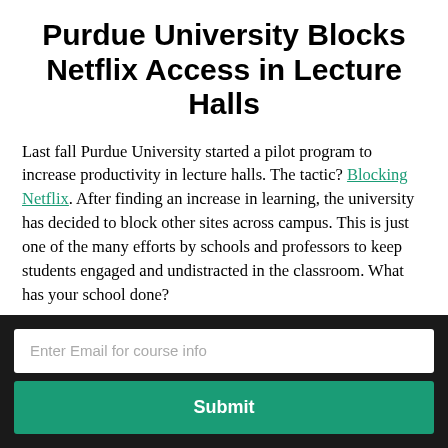Purdue University Blocks Netflix Access in Lecture Halls
Last fall Purdue University started a pilot program to increase productivity in lecture halls. The tactic? Blocking Netflix. After finding an increase in learning, the university has decided to block other sites across campus. This is just one of the many efforts by schools and professors to keep students engaged and undistracted in the classroom. What has your school done?